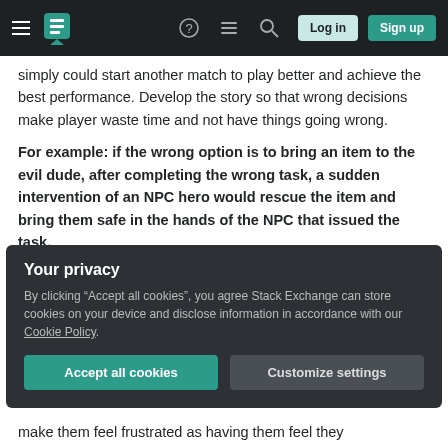Stack Exchange navigation bar with hamburger menu, logo, help, chat, search icons, Log in and Sign up buttons
simply could start another match to play better and achieve the best performance. Develop the story so that wrong decisions make player waste time and not have things going wrong.
For example: if the wrong option is to bring an item to the evil dude, after completing the wrong task, a sudden intervention of an NPC hero would rescue the item and bring them safe in the hands of the NPC that issued the task.
About the XP rewards, you could have wrong option
Your privacy
By clicking “Accept all cookies”, you agree Stack Exchange can store cookies on your device and disclose information in accordance with our Cookie Policy.
Accept all cookies
Customize settings
make them feel frustrated as having them feel they